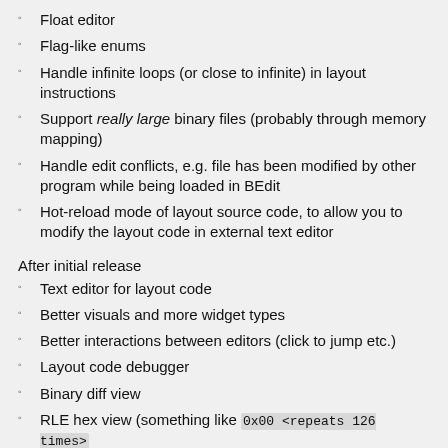Float editor
Flag-like enums
Handle infinite loops (or close to infinite) in layout instructions
Support really large binary files (probably through memory mapping)
Handle edit conflicts, e.g. file has been modified by other program while being loaded in BEdit
Hot-reload mode of layout source code, to allow you to modify the layout code in external text editor
After initial release
Text editor for layout code
Better visuals and more widget types
Better interactions between editors (click to jump etc.)
Layout code debugger
Binary diff view
RLE hex view (something like 0x00 <repeats 126 times> 0xFA ... )
Plotting view